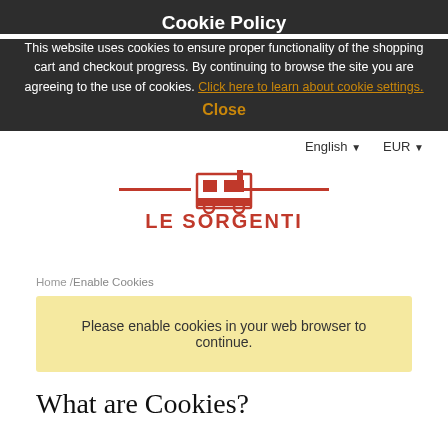Cookie Policy
This website uses cookies to ensure proper functionality of the shopping cart and checkout progress. By continuing to browse the site you are agreeing to the use of cookies. Click here to learn about cookie settings.
Close
English ▾    EUR ▾
[Figure (logo): Le Sorgenti logo with red text and building/train icon]
Home /Enable Cookies
Please enable cookies in your web browser to continue.
What are Cookies?